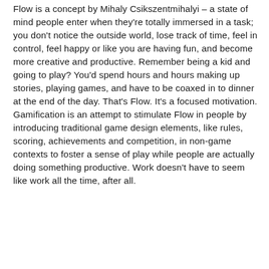Flow is a concept by Mihaly Csikszentmihalyi – a state of mind people enter when they're totally immersed in a task; you don't notice the outside world, lose track of time, feel in control, feel happy or like you are having fun, and become more creative and productive. Remember being a kid and going to play? You'd spend hours and hours making up stories, playing games, and have to be coaxed in to dinner at the end of the day. That's Flow. It's a focused motivation. Gamification is an attempt to stimulate Flow in people by introducing traditional game design elements, like rules, scoring, achievements and competition, in non-game contexts to foster a sense of play while people are actually doing something productive. Work doesn't have to seem like work all the time, after all.